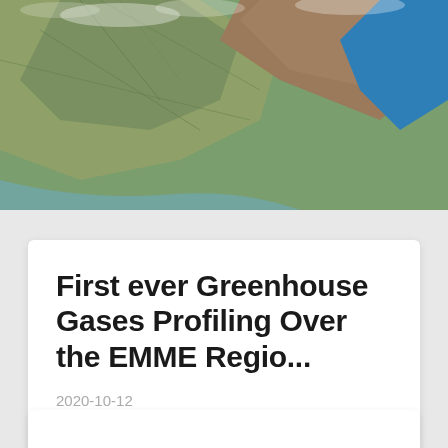[Figure (photo): Satellite aerial view of a coastline and landmass, showing terrain with roads/rivers and blue ocean water in the upper right portion. The image is taken from space showing a Mediterranean region.]
First ever Greenhouse Gases Profiling Over the EMME Regio...
2020-10-12
Cyprus has a strategic position for greenhouse gases (GHGs) measurements. Being situated between ...